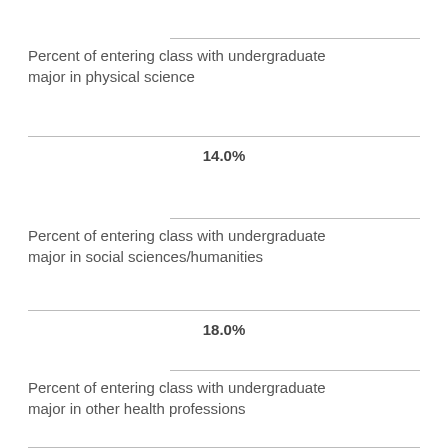Percent of entering class with undergraduate major in physical science
14.0%
Percent of entering class with undergraduate major in social sciences/humanities
18.0%
Percent of entering class with undergraduate major in other health professions